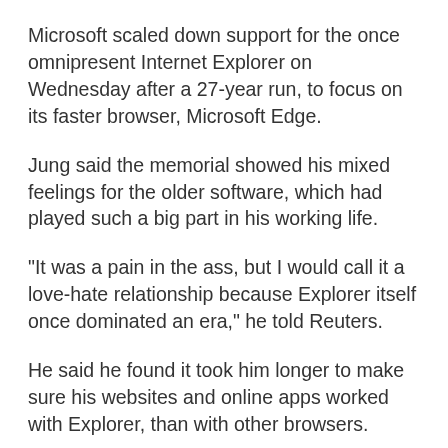Microsoft scaled down support for the once omnipresent Internet Explorer on Wednesday after a 27-year run, to focus on its faster browser, Microsoft Edge.
Jung said the memorial showed his mixed feelings for the older software, which had played such a big part in his working life.
"It was a pain in the ass, but I would call it a love-hate relationship because Explorer itself once dominated an era," he told Reuters.
He said he found it took him longer to make sure his websites and online apps worked with Explorer, than with other browsers.
But his customers kept asking him to make sure their